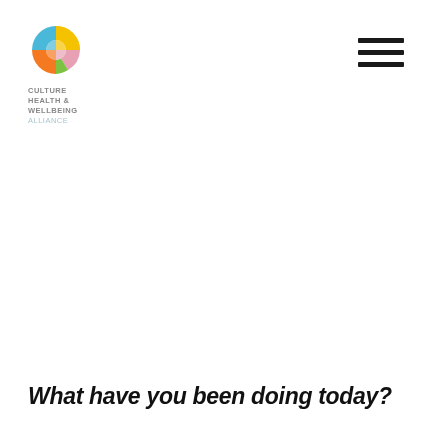[Figure (logo): Culture Health & Wellbeing Alliance logo — colorful segmented circle icon with text underneath reading CULTURE HEALTH & WELLBEING ALLIANCE]
What have you been doing today?